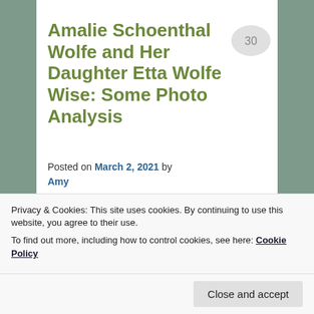Amalie Schoenthal Wolfe and Her Daughter Etta Wolfe Wise: Some Photo Analysis
Posted on March 2, 2021 by Amy
I have already written about
Privacy & Cookies: This site uses cookies. By continuing to use this website, you agree to their use.
To find out more, including how to control cookies, see here: Cookie Policy
Close and accept
and came to the US as a young